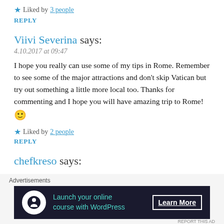★ Liked by 3 people
REPLY
Viivi Severina says:
4.10.2017 at 09:47
I hope you really can use some of my tips in Rome. Remember to see some of the major attractions and don't skip Vatican but try out something a little more local too. Thanks for commenting and I hope you will have amazing trip to Rome! 🙂
★ Liked by 2 people
REPLY
chefkreso says:
Advertisements
[Figure (other): Dark advertisement banner: Launch your online course with WordPress – Learn More button, with a WordPress-style icon on the left.]